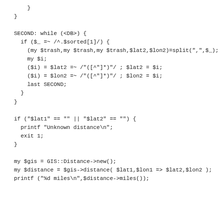}
}

SECOND: while (<DB>) {
  if ($_ =~ /^.$sorted[1]/) {
    (my $trash,my $trash,my $trash,$lat2,$lon2)=split(",",$_);
    my $i;
    ($i) = $lat2 =~ /"([^"]*)"/; $lat2 = $i;
    ($i) = $lon2 =~ /"([^"]*)"/; $lon2 = $i;
    last SECOND;
  }
}

if ("$lat1" == "" || "$lat2" == "") {
  printf "Unknown distance\n";
  exit 1;
}

my $gis = GIS::Distance->new();
my $distance = $gis->distance( $lat1,$lon1 => $lat2,$lon2 );
printf ("%d miles\n",$distance->miles());